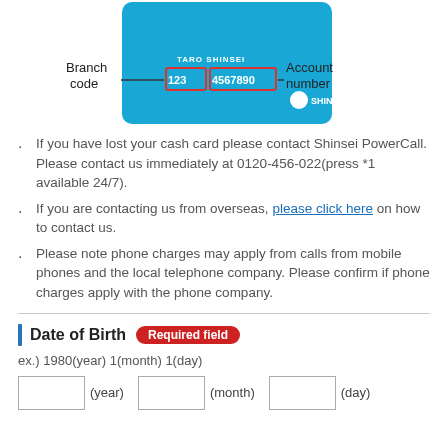[Figure (illustration): Shinsei Bank cash card illustration showing Branch code (123) and Account number (4567890) highlighted with red rectangles and labeled with arrows.]
If you have lost your cash card please contact Shinsei PowerCall. Please contact us immediately at 0120-456-022(press *1 available 24/7).
If you are contacting us from overseas, please click here on how to contact us.
Please note phone charges may apply from calls from mobile phones and the local telephone company. Please confirm if phone charges apply with the phone company.
Date of Birth  Required field
ex.) 1980(year) 1(month) 1(day)